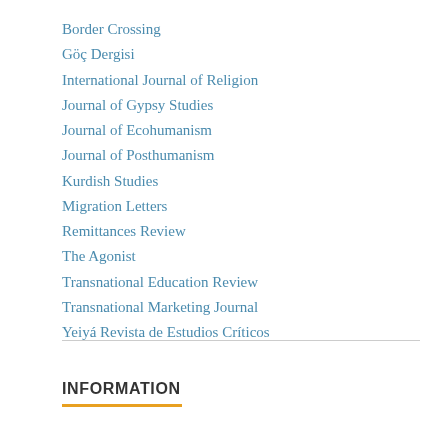Border Crossing
Göç Dergisi
International Journal of Religion
Journal of Gypsy Studies
Journal of Ecohumanism
Journal of Posthumanism
Kurdish Studies
Migration Letters
Remittances Review
The Agonist
Transnational Education Review
Transnational Marketing Journal
Yeiyá Revista de Estudios Críticos
INFORMATION